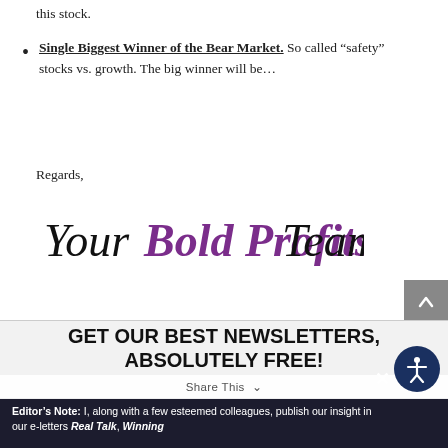this stock.
Single Biggest Winner of the Bear Market. So called “safety” stocks vs. growth. The big winner will be…
Regards,
[Figure (illustration): Cursive signature reading 'Your Bold Profits Team' where 'Bold Profits' is in purple and the rest is in black script]
GET OUR BEST NEWSLETTERS, ABSOLUTELY FREE!
Editor’s Note: I, along with a few esteemed colleagues, publish our insight in our e-letters Real Talk, Winning